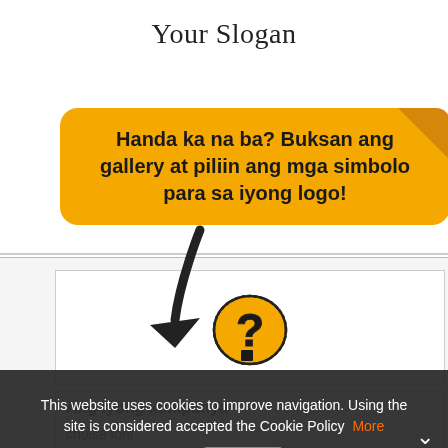Your Slogan
Handa ka na ba? Buksan ang gallery at piliin ang mga simbolo para sa iyong logo!
[Figure (illustration): Orange question mark blob icon inside a white bordered box]
Ang iyong kumpanya
choise font
This website uses cookies to improve navigation. Using the site is considered accepted the Cookie Policy  More info  Ok